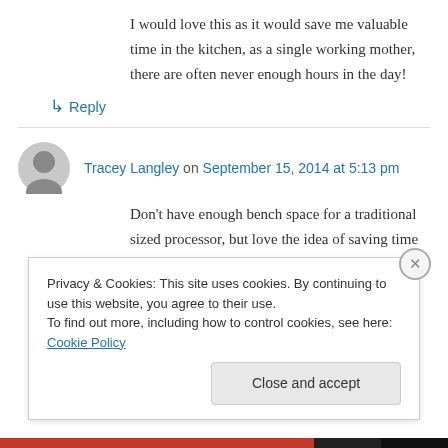I would love this as it would save me valuable time in the kitchen, as a single working mother, there are often never enough hours in the day!
↳ Reply
Tracey Langley on September 15, 2014 at 5:13 pm
Don't have enough bench space for a traditional sized processor, but love the idea of saving time and money by doing it myself at home
Privacy & Cookies: This site uses cookies. By continuing to use this website, you agree to their use.
To find out more, including how to control cookies, see here: Cookie Policy
Close and accept